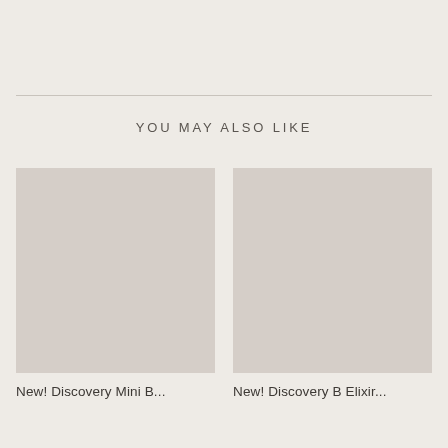YOU MAY ALSO LIKE
[Figure (photo): Product placeholder image 1 - light taupe/beige square]
New! Discovery Mini B...
[Figure (photo): Product placeholder image 2 - light taupe/beige square]
New! Discovery B Elixir...